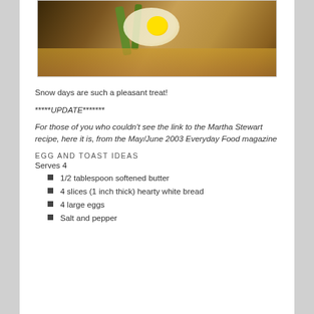[Figure (photo): Close-up photo of egg on toast with green pepper strips, sunny-side up egg visible with yellow yolk, on a baking tray]
Snow days are such a pleasant treat!
*****UPDATE*******
For those of you who couldn't see the link to the Martha Stewart recipe, here it is, from the May/June 2003 Everyday Food magazine
EGG AND TOAST IDEAS
Serves 4
1/2 tablespoon softened butter
4 slices (1 inch thick) hearty white bread
4 large eggs
Salt and pepper